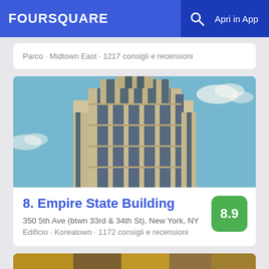FOURSQUARE  Apri in App
Parco · Midtown East · 1217 consigli e recensioni
[Figure (photo): Photo of the Empire State Building top floors viewed from below against a blue sky with clouds]
8. Empire State Building
8.9
350 5th Ave (btwn 33rd & 34th St), New York, NY
Edificio · Koreatown · 1172 consigli e recensioni
[Figure (photo): Partial bottom photo card, golden/brown tones, bottom of page]